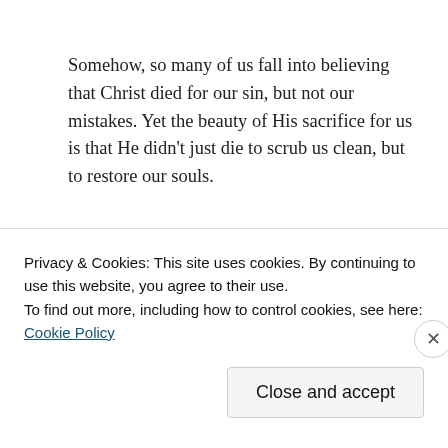Somehow, so many of us fall into believing that Christ died for our sin, but not our mistakes. Yet the beauty of His sacrifice for us is that He didn't just die to scrub us clean, but to restore our souls.
Advertisements
[Figure (other): Dark navy advertisement banner with text 'Opinions.' in white italic serif font and circular logo icons on the right.]
Privacy & Cookies: This site uses cookies. By continuing to use this website, you agree to their use.
To find out more, including how to control cookies, see here: Cookie Policy